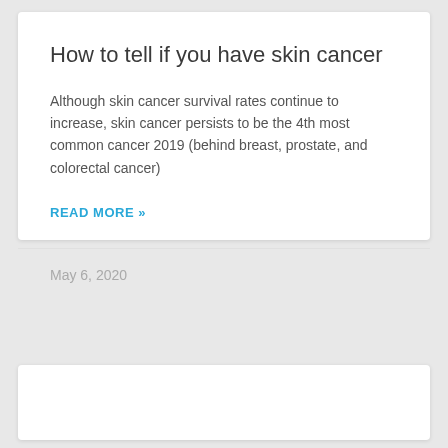How to tell if you have skin cancer
Although skin cancer survival rates continue to increase, skin cancer persists to be the 4th most common cancer 2019 (behind breast, prostate, and colorectal cancer)
READ MORE »
May 6, 2020